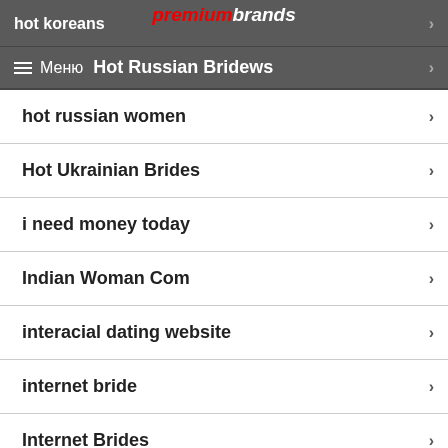hot koreans | premiumbrands
Hot Russian Brides / Reviews | ☰ Меню
hot russian women
Hot Ukrainian Brides
i need money today
Indian Woman Com
interacial dating website
internet bride
Internet Brides
is this email valid